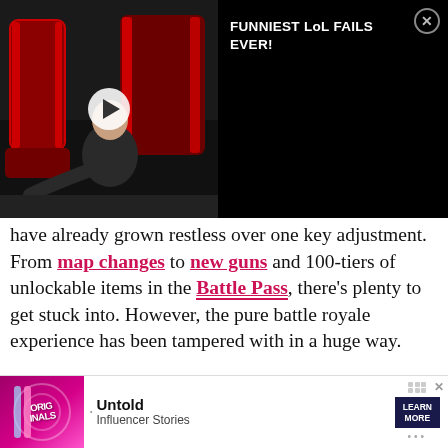[Figure (screenshot): Video thumbnail showing gaming chairs with red accents and a person at a gaming setup, with a play button overlay. Title reads 'FUNNIEST LoL FAILS EVER!' with a close button (X)]
have already grown restless over one key adjustment. From map changes to new guns and 100-tiers of unlockable items in the Battle Pass, there's plenty to get stuck into. However, the pure battle royale experience has been tampered with in a huge way.
Article continues after ad
[Figure (screenshot): Advertisement banner at the bottom showing 'Originals' logo with pink/purple colors, bullet point, 'Untold Influencer Stories' text, and a 'LEARN MORE' button]